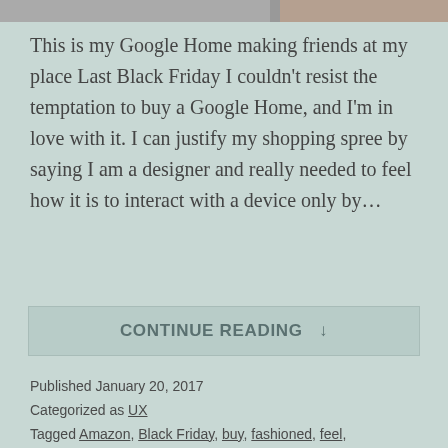[Figure (photo): Partial photo strip at top of page, cropped image visible]
This is my Google Home making friends at my place Last Black Friday I couldn't resist the temptation to buy a Google Home, and I'm in love with it. I can justify my shopping spree by saying I am a designer and really needed to feel how it is to interact with a device only by…
CONTINUE READING ↓
Published January 20, 2017
Categorized as UX
Tagged Amazon, Black Friday, buy, fashioned, feel, friends, Gmail, goes, Google Home, LOL, Marcus Avelar,